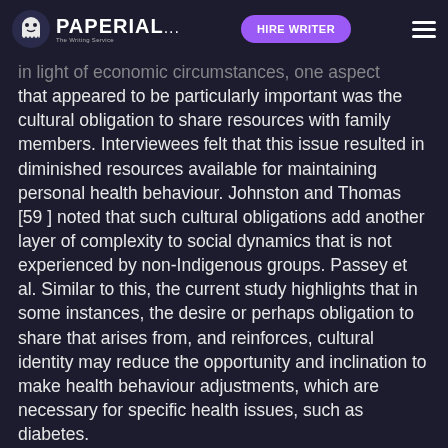PAPERIAL... HIRE WRITER
in light of economic circumstances, one aspect that appeared to be particularly important was the cultural obligation to share resources with family members. Interviewees felt that this issue resulted in diminished resources available for maintaining personal health behaviour. Johnston and Thomas [59] noted that such cultural obligations add another layer of complexity to social dynamics that is not experienced by non-Indigenous groups. Passey et al. Similar to this, the current study highlights that in some instances, the desire or perhaps obligation to share that arises from, and reinforces, cultural identity may reduce the opportunity and inclination to make health behaviour adjustments, which are necessary for specific health issues, such as diabetes.
This cultural focus on family and kin altered the priority of personal needs and the motivational influences derived from cultural identity for...